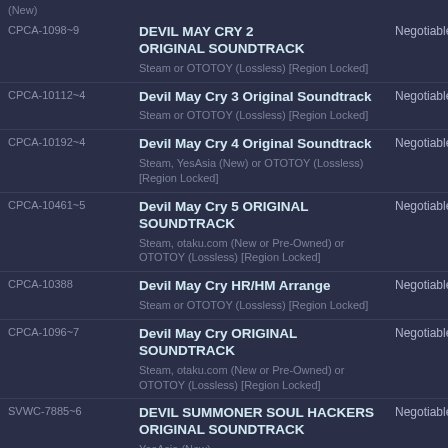| Catalog ID | Title / Availability | Price |
| --- | --- | --- |
|  | (New) |  |
| CPCA-1098~9 | DEVIL MAY CRY 2 ORIGINAL SOUNDTRACK
Steam or OTOTOY (Lossless) [Region Locked] | Negotiable |
| CPCA-10112~4 | Devil May Cry 3 Original Soundtrack
Steam or OTOTOY (Lossless) [Region Locked] | Negotiable |
| CPCA-10192~4 | Devil May Cry 4 Original Soundtrack
Steam, YesAsia (New) or OTOTOY (Lossless) [Region Locked] | Negotiable |
| CPCA-10461~5 | Devil May Cry 5 ORIGINAL SOUNDTRACK
Steam, otaku.com (New or Pre-Owned) or OTOTOY (Lossless) [Region Locked] | Negotiable |
| CPCA-10388 | Devil May Cry HR/HM Arrange
Steam or OTOTOY (Lossless) [Region Locked] | Negotiable |
| CPCA-1096~7 | Devil May Cry ORIGINAL SOUNDTRACK
Steam, otaku.com (New or Pre-Owned) or OTOTOY (Lossless) [Region Locked] | Negotiable |
| SVWC-7885~6 | DEVIL SUMMONER SOUL HACKERS ORIGINAL SOUNDTRACK
YesAsia (New) | Negotiable |
|  | DEVIL SURVIVOR 2 BREAK RECORD ORIGINAL |  |